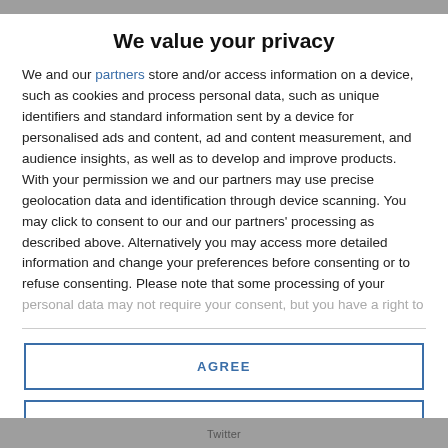We value your privacy
We and our partners store and/or access information on a device, such as cookies and process personal data, such as unique identifiers and standard information sent by a device for personalised ads and content, ad and content measurement, and audience insights, as well as to develop and improve products. With your permission we and our partners may use precise geolocation data and identification through device scanning. You may click to consent to our and our partners' processing as described above. Alternatively you may access more detailed information and change your preferences before consenting or to refuse consenting. Please note that some processing of your personal data may not require your consent, but you have a right to
AGREE
MORE OPTIONS
Twitter